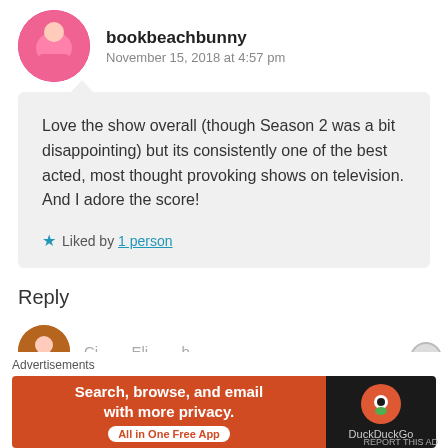bookbeachbunny
November 15, 2018 at 4:57 pm
Love the show overall (though Season 2 was a bit disappointing) but its consistently one of the best acted, most thought provoking shows on television. And I adore the score!
★ Liked by 1 person
Reply
[Figure (other): Advertisements banner: DuckDuckGo ad — Search, browse, and email with more privacy. All in One Free App]